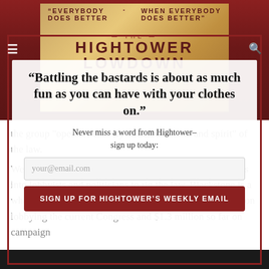[Figure (screenshot): Hightower Lowdown website banner with text 'EVERYBODY DOES BETTER / WHEN EVERYBODY DOES BETTER' and The Hightower Lowdown logo]
“Battling the bastards is about as much fun as you can have with your clothes on.”
Never miss a word from Hightower– sign up today:
your@email.com
SIGN UP FOR HIGHTOWER’S WEEKLY EMAIL
the group “operates entirely within the letter and spirit” of the law.
Well that’s an easy trick for them, since they pour millions into lobbyists and politicians to rig the law. Blackstone is a whale in American politics; the company spent $7.3 million lobbying the current Congress and $1.3 million so far on campaign